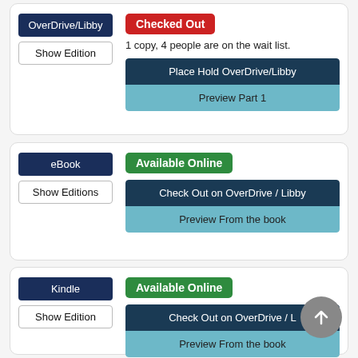OverDrive/Libby
Show Edition
Checked Out
1 copy, 4 people are on the wait list.
Place Hold OverDrive/Libby
Preview Part 1
eBook
Show Editions
Available Online
Check Out on OverDrive / Libby
Preview From the book
Kindle
Show Edition
Available Online
Check Out on OverDrive / L...
Preview From the book